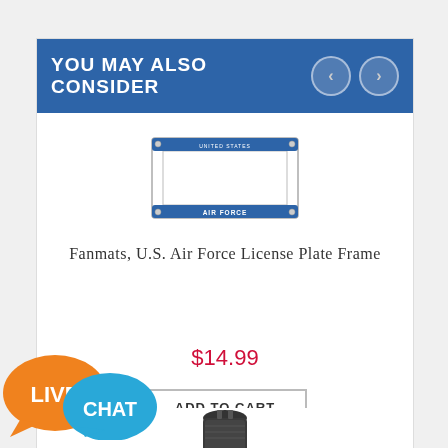YOU MAY ALSO CONSIDER
[Figure (photo): U.S. Air Force license plate frame - chrome metal frame with blue banner reading 'AIR FORCE' at the bottom and 'UNITED STATES' at the top]
Fanmats, U.S. Air Force License Plate Frame
$14.99
ADD TO CART
[Figure (photo): Partial image of a black product, appears to be an automotive accessory, visible at the bottom of the page]
[Figure (screenshot): Live Chat button overlay - orange bubble with 'LIVE' text and blue bubble with 'CHAT' text]